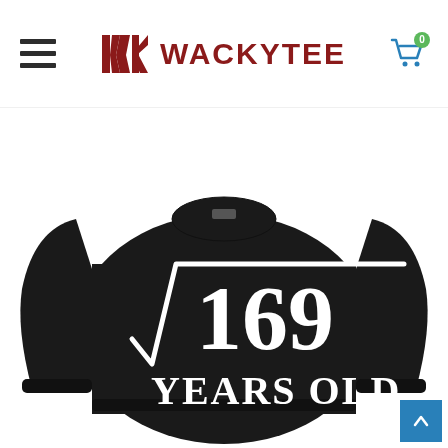WACKYTEE
[Figure (photo): Black crewneck sweatshirt with white text showing a square root symbol over 169 and 'YEARS OLD' below, displayed on a white background. Product sold by WackyTee.]